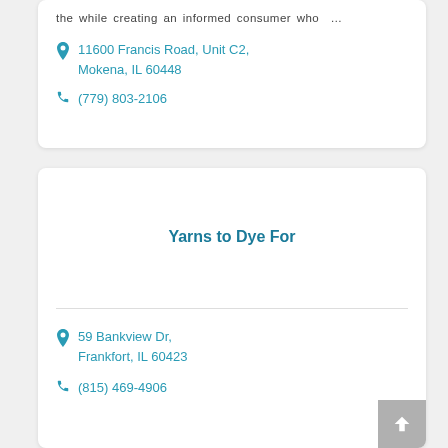the while creating an informed consumer who …
11600 Francis Road, Unit C2, Mokena, IL 60448
(779) 803-2106
Yarns to Dye For
59 Bankview Dr, Frankfort, IL 60423
(815) 469-4906